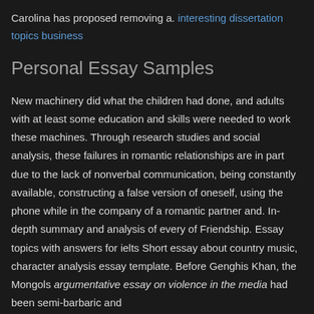Carolina has proposed removing a. interesting dissertation topics business
Personal Essay Samples
New machinery did what the children had done, and adults with at least some education and skills were needed to work these machines. Through research studies and social analysis, these failures in romantic relationships are in part due to the lack of nonverbal communication, being constantly available, constructing a false version of oneself, using the phone while in the company of a romantic partner and. In-depth summary and analysis of every of Friendship. Essay topics with answers for ielts Short essay about country music, character analysis essay template. Before Genghis Khan, the Mongols argumentative essay on violence in the media had been semi-barbaric and